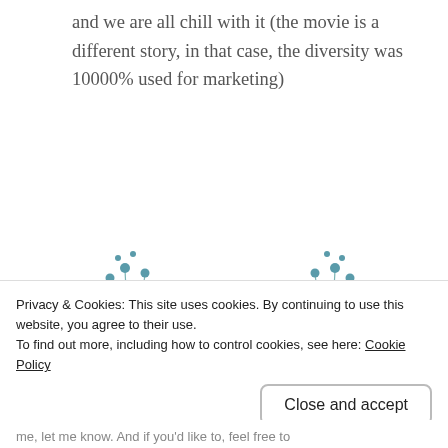and we are all chill with it (the movie is a different story, in that case, the diversity was 10000% used for marketing)
[Figure (illustration): Decorative floral illustration with script text 'That's a Wrap!' surrounded by flowers and leaves in pink and blue tones.]
Privacy & Cookies: This site uses cookies. By continuing to use this website, you agree to their use.
To find out more, including how to control cookies, see here: Cookie Policy
me, let me know. And if you'd like to, feel free to